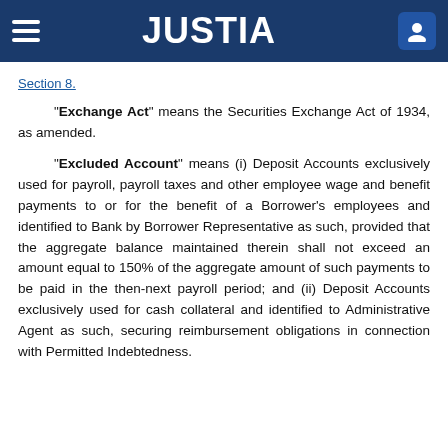JUSTIA
Section 8.
“Exchange Act” means the Securities Exchange Act of 1934, as amended.
“Excluded Account” means (i) Deposit Accounts exclusively used for payroll, payroll taxes and other employee wage and benefit payments to or for the benefit of a Borrower’s employees and identified to Bank by Borrower Representative as such, provided that the aggregate balance maintained therein shall not exceed an amount equal to 150% of the aggregate amount of such payments to be paid in the then-next payroll period; and (ii) Deposit Accounts exclusively used for cash collateral and identified to Administrative Agent as such, securing reimbursement obligations in connection with Permitted Indebtedness.